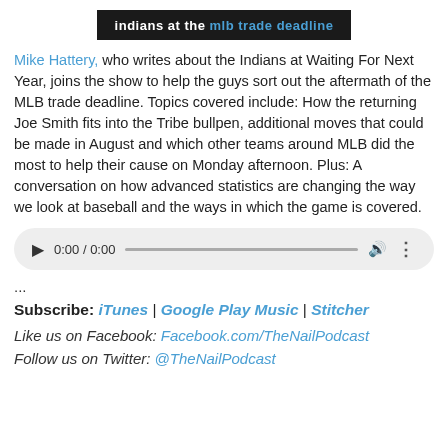indians at the mlb trade deadline
Mike Hattery, who writes about the Indians at Waiting For Next Year, joins the show to help the guys sort out the aftermath of the MLB trade deadline. Topics covered include: How the returning Joe Smith fits into the Tribe bullpen, additional moves that could be made in August and which other teams around MLB did the most to help their cause on Monday afternoon. Plus: A conversation on how advanced statistics are changing the way we look at baseball and the ways in which the game is covered.
[Figure (other): Audio player widget showing play button, time display 0:00 / 0:00, progress bar, volume icon, and more options icon]
...
Subscribe: iTunes | Google Play Music | Stitcher
Like us on Facebook: Facebook.com/TheNailPodcast
Follow us on Twitter: @TheNailPodcast